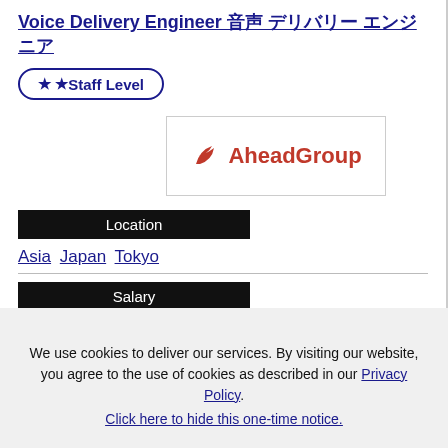Voice Delivery Engineer 音声 デリバリー エンジニア
★★ Staff Level
[Figure (logo): AheadGroup company logo with red swoosh icon]
Location
Asia Japan Tokyo
Salary
JPY - Japanese Yen JPY 8000K - JPY 9500K
Japanese Level
We use cookies to deliver our services. By visiting our website, you agree to the use of cookies as described in our Privacy Policy. Click here to hide this one-time notice.